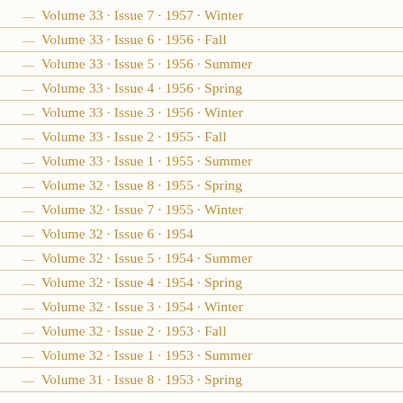Volume 33 · Issue 7 · 1957 · Winter
Volume 33 · Issue 6 · 1956 · Fall
Volume 33 · Issue 5 · 1956 · Summer
Volume 33 · Issue 4 · 1956 · Spring
Volume 33 · Issue 3 · 1956 · Winter
Volume 33 · Issue 2 · 1955 · Fall
Volume 33 · Issue 1 · 1955 · Summer
Volume 32 · Issue 8 · 1955 · Spring
Volume 32 · Issue 7 · 1955 · Winter
Volume 32 · Issue 6 · 1954
Volume 32 · Issue 5 · 1954 · Summer
Volume 32 · Issue 4 · 1954 · Spring
Volume 32 · Issue 3 · 1954 · Winter
Volume 32 · Issue 2 · 1953 · Fall
Volume 32 · Issue 1 · 1953 · Summer
Volume 31 · Issue 8 · 1953 · Spring